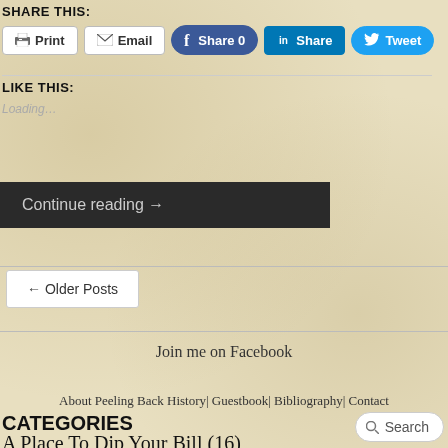SHARE THIS:
[Figure (screenshot): Share buttons: Print, Email, Facebook Share 0, LinkedIn Share, Twitter Tweet]
LIKE THIS:
Loading…
Continue reading →
← Older Posts
Join me on Facebook
About Peeling Back History| Guestbook| Bibliography| Contact
CATEGORIES
Search
A Place To Dip Your Bill (16)